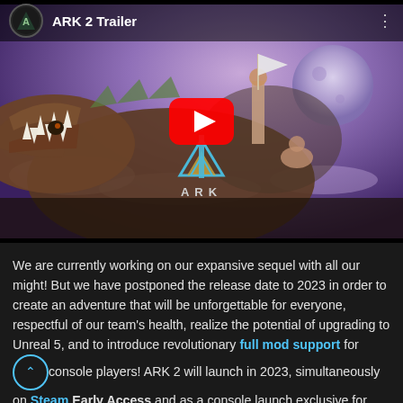[Figure (screenshot): YouTube video thumbnail for 'ARK 2 Trailer' showing a large dinosaur (T-Rex type) with its mouth open, two human characters riding on its back holding a flag, with a moon and purple sky in the background. A red YouTube play button is centered on the image. The ARK game logo is visible at the bottom center of the thumbnail. A dark header bar shows the ARK channel icon and the title 'ARK 2 Trailer'.]
We are currently working on our expansive sequel with all our might! But we have postponed the release date to 2023 in order to create an adventure that will be unforgettable for everyone, respectful of our team's health, realize the potential of upgrading to Unreal 5, and to introduce revolutionary full mod support for console players! ARK 2 will launch in 2023, simultaneously on Steam Early Access and as a console launch exclusive for Xbox Series X|S and with Xbox and PC Game Pass on Game Preview.